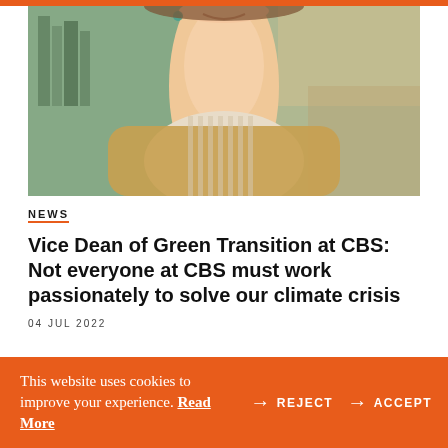[Figure (photo): Close-up photo of a smiling woman wearing a cream/beige striped shirt and tan sweater, cropped to show face/neck/upper torso. Background is blurred indoor setting.]
NEWS
Vice Dean of Green Transition at CBS: Not everyone at CBS must work passionately to solve our climate crisis
04 JUL 2022
This website uses cookies to improve your experience. Read More → REJECT → ACCEPT